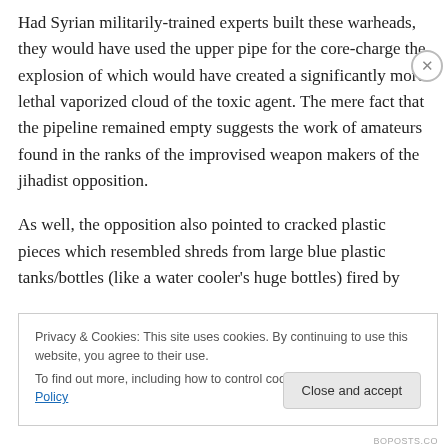Had Syrian militarily-trained experts built these warheads, they would have used the upper pipe for the core-charge the explosion of which would have created a significantly more lethal vaporized cloud of the toxic agent. The mere fact that the pipeline remained empty suggests the work of amateurs found in the ranks of the improvised weapon makers of the jihadist opposition.
As well, the opposition also pointed to cracked plastic pieces which resembled shreds from large blue plastic tanks/bottles (like a water cooler’s huge bottles) fired by
Privacy & Cookies: This site uses cookies. By continuing to use this website, you agree to their use.
To find out more, including how to control cookies, see here: Cookie Policy
Close and accept
BOPOSTS.CO